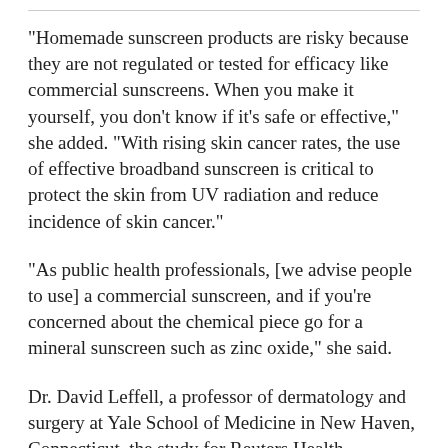"Homemade sunscreen products are risky because they are not regulated or tested for efficacy like commercial sunscreens. When you make it yourself, you don't know if it's safe or effective," she added. "With rising skin cancer rates, the use of effective broadband sunscreen is critical to protect the skin from UV radiation and reduce incidence of skin cancer."
"As public health professionals, [we advise people to use] a commercial sunscreen, and if you're concerned about the chemical piece go for a mineral sunscreen such as zinc oxide," she said.
Dr. David Leffell, a professor of dermatology and surgery at Yale School of Medicine in New Haven, Connecticut, the study for Reuters Health...